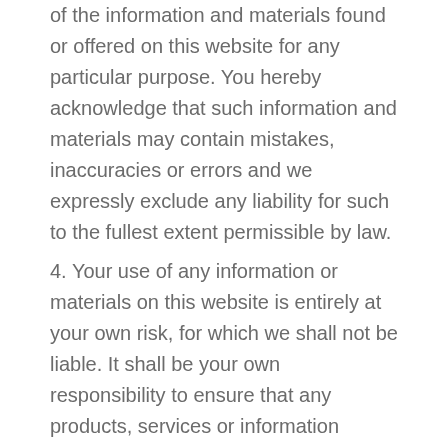of the information and materials found or offered on this website for any particular purpose. You hereby acknowledge that such information and materials may contain mistakes, inaccuracies or errors and we expressly exclude any liability for such to the fullest extent permissible by law.
4. Your use of any information or materials on this website is entirely at your own risk, for which we shall not be liable. It shall be your own responsibility to ensure that any products, services or information available through this website meet your specific requirements.
5. This website contains material which is owned by or licensed to us. This material includes, but is not limited to, the content, design, layout, appearance, look and graphics of the website. Any reproduction of the website's material is